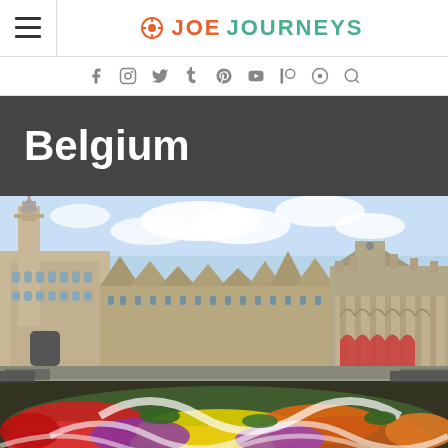JOE JOURNEYS
Belgium
[Figure (photo): Grand-Place Brussels with ornate Gothic and Baroque guild buildings surrounding a large square covered with a colorful flower carpet pattern in red, yellow, purple and white]